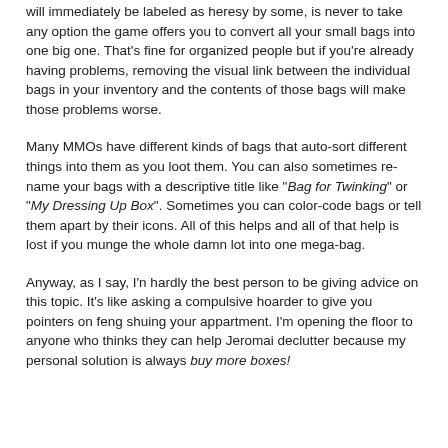will immediately be labeled as heresy by some, is never to take any option the game offers you to convert all your small bags into one big one. That's fine for organized people but if you're already having problems, removing the visual link between the individual bags in your inventory and the contents of those bags will make those problems worse.
Many MMOs have different kinds of bags that auto-sort different things into them as you loot them. You can also sometimes re-name your bags with a descriptive title like "Bag for Twinking" or "My Dressing Up Box". Sometimes you can color-code bags or tell them apart by their icons. All of this helps and all of that help is lost if you munge the whole damn lot into one mega-bag.
Anyway, as I say, I'n hardly the best person to be giving advice on this topic. It's like asking a compulsive hoarder to give you pointers on feng shuing your appartment. I'm opening the floor to anyone who thinks they can help Jeromai declutter because my personal solution is always buy more boxes!